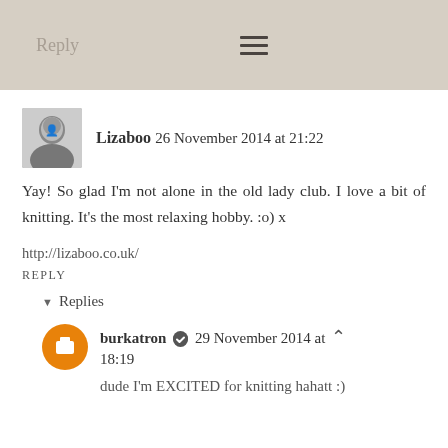Reply
Lizaboo 26 November 2014 at 21:22
Yay! So glad I'm not alone in the old lady club. I love a bit of knitting. It's the most relaxing hobby. :o) x
http://lizaboo.co.uk/
REPLY
▾ Replies
burkatron ✔ 29 November 2014 at 18:19
dude I'm EXCITED for knitting hahatt :)